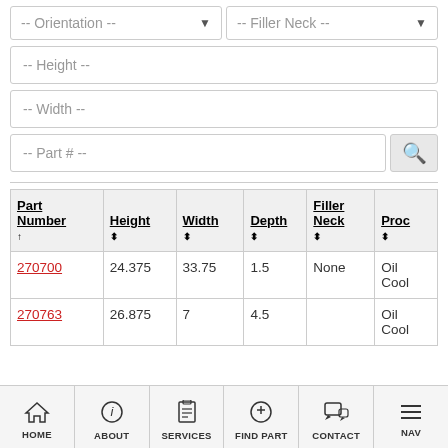[Figure (screenshot): Dropdown filter for Orientation]
[Figure (screenshot): Dropdown filter for Filler Neck]
[Figure (screenshot): Input field for Height]
[Figure (screenshot): Input field for Width]
[Figure (screenshot): Input field for Part # with search button]
| Part Number ↑ | Height ⇅ | Width ⇅ | Depth ⇅ | Filler Neck ⇅ | Proc ⇅ |
| --- | --- | --- | --- | --- | --- |
| 270700 | 24.375 | 33.75 | 1.5 | None | Oil Cool |
| 270763 | 26.875 | 7 | 4.5 |  | Oil Cool |
HOME  ABOUT  SERVICES  FIND PART  CONTACT  NAV